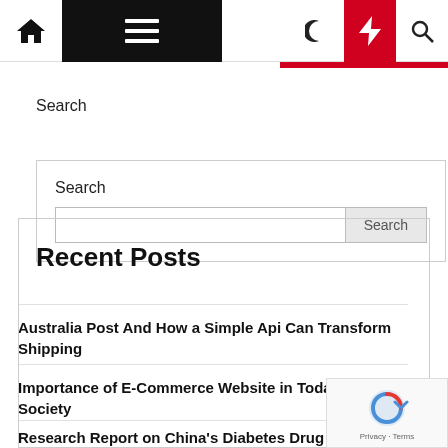Navigation bar with home icon, menu, moon, lightning, and search icons
Search
Search input field with Search button
Recent Posts
Australia Post And How a Simple Api Can Transform Shipping
Importance of E-Commerce Website in Today's Society
Research Report on China's Diabetes Drug Market, 2013-2017